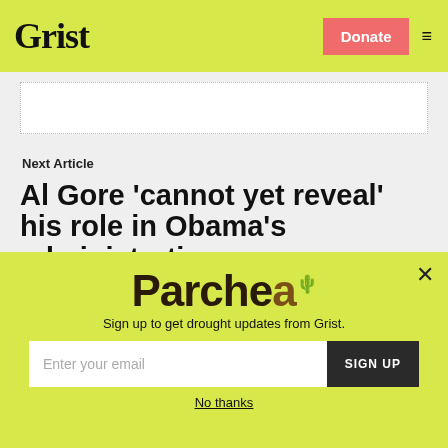Grist | Donate | Menu
[Figure (other): White content box with dotted border]
Next Article
Al Gore 'cannot yet reveal' his role in Obama's administration
[Figure (other): Parchea newsletter signup popup overlay with email input field and SIGN UP button]
Sign up to get drought updates from Grist.
No thanks